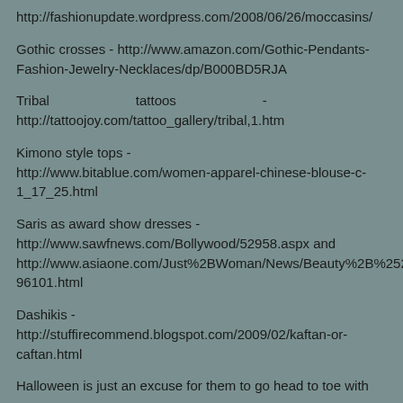http://fashionupdate.wordpress.com/2008/06/26/moccasins/
Gothic crosses - http://www.amazon.com/Gothic-Pendants-Fashion-Jewelry-Necklaces/dp/B000BD5RJA
Tribal                         tattoos                         - http://tattoojoy.com/tattoo_gallery/tribal,1.htm
Kimono style tops - http://www.bitablue.com/women-apparel-chinese-blouse-c-1_17_25.html
Saris as award show dresses - http://www.sawfnews.com/Bollywood/52958.aspx and http://www.asiaone.com/Just%2BWoman/News/Beauty%2B%2526%2BFashion/Story/A1Story20081024-96101.html
Dashikis - http://stuffirecommend.blogspot.com/2009/02/kaftan-or-caftan.html
Halloween is just an excuse for them to go head to toe with